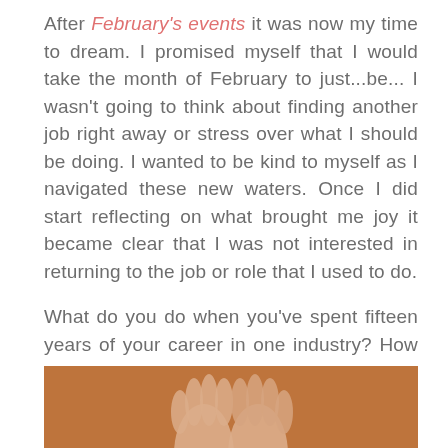After February's events it was now my time to dream. I promised myself that I would take the month of February to just...be... I wasn't going to think about finding another job right away or stress over what I should be doing. I wanted to be kind to myself as I navigated these new waters. Once I did start reflecting on what brought me joy it became clear that I was not interested in returning to the job or role that I used to do.

What do you do when you've spent fifteen years of your career in one industry? How do you transform your life?
[Figure (photo): Partial photo showing hands held together over a warm sandy/earthy orange-brown background, cropped at bottom of page]